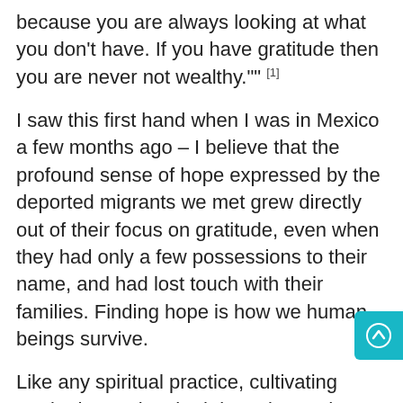because you are always looking at what you don't have. If you have gratitude then you are never not wealthy."" [1]
I saw this first hand when I was in Mexico a few months ago – I believe that the profound sense of hope expressed by the deported migrants we met grew directly out of their focus on gratitude, even when they had only a few possessions to their name, and had lost touch with their families. Finding hope is how we human beings survive.
Like any spiritual practice, cultivating gratitude requires both intention and preparation. Our lives move quickly, and it is easy to get swept away by the larger culture, into the world of constantly assessing and judging and wanting